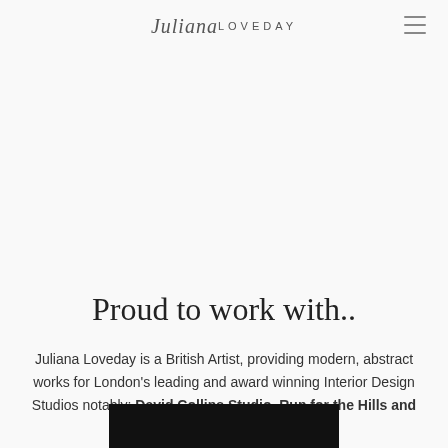Juliana LOVEDAY
Proud to work with..
Juliana Loveday is a British Artist, providing modern, abstract works for London's leading and award winning Interior Design Studios notably; David Collins Studio, Run for the Hills and Zulufish Interiors.
[Figure (photo): Black rectangular image area at bottom of page]